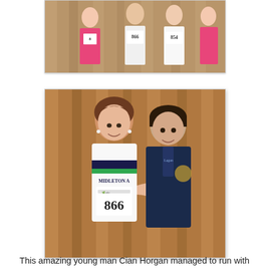[Figure (photo): Group photo of runners wearing race bibs including numbers 866 and 854, in pink and dark athletic wear, standing against a wooden wall background.]
[Figure (photo): A woman in a white sleeveless running vest labeled 'MIDLETON A' wearing race bib number 866 stands with her arm around a young boy wearing a dark blue jacket. Both are smiling. Background is a wooden paneled wall.]
This amazing young man Cian Horgan managed to run with